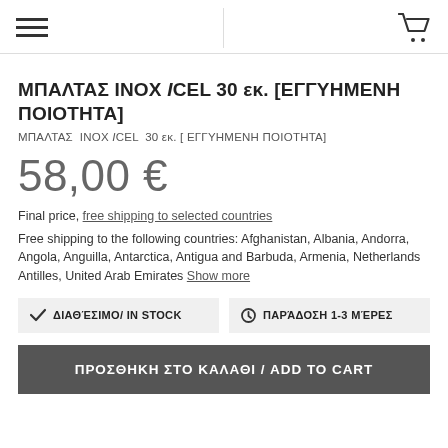Navigation header with hamburger menu and cart icon
ΜΠΑΛΤΑΣ ΙΝΟΧ ICEL 30 εκ. [ΕΓΓΥΗΜΕΝΗ ΠΟΙΟΤΗΤΑ]
ΜΠΑΛΤΑΣ  ΙΝΟΧ ICEL  30 εκ. [ ΕΓΓΥΗΜΕΝΗ ΠΟΙΟΤΗΤΑ]
58,00 €
Final price, free shipping to selected countries
Free shipping to the following countries: Afghanistan, Albania, Andorra, Angola, Anguilla, Antarctica, Antigua and Barbuda, Armenia, Netherlands Antilles, United Arab Emirates Show more
✔ ΔΙΑΘΈΣΙΜΟ/ IN STOCK
⏱ ΠΑΡΆΔΟΣΗ 1-3 ΜΈΡΕΣ
ΠΡΟΣΘΗΚΗ ΣΤΟ ΚΑΛΑΘΙ / ADD TO CART